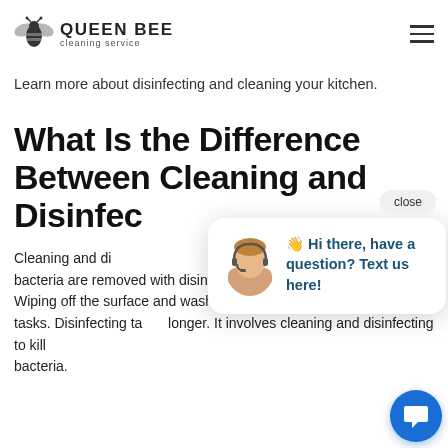QUEEN BEE cleaning service
make you sick. Cleaning your kitchen will kill harmful bacteria and these bacteria.
Learn more about disinfecting and cleaning your kitchen.
What Is the Difference Between Cleaning and Disinfec...
Cleaning and di... some difference... bacteria are removed with disinfectants, cleaners, and instruments. Wiping off the surface and washing... stove, and dishes are daily tasks. Disinfecting ta... longer. It involves cleaning and disinfecting to kill bacteria.
[Figure (screenshot): Chat widget popup with agent avatar and message: Hi there, have a question? Text us here!]